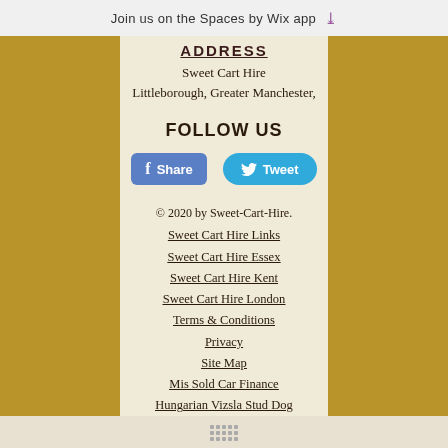Join us on the Spaces by Wix app ↓
ADDRESS
Sweet Cart Hire
Littleborough, Greater Manchester,
FOLLOW US
[Figure (other): Facebook Share button and Twitter Tweet button]
© 2020 by Sweet-Cart-Hire.
Sweet Cart Hire Links
Sweet Cart Hire Essex
Sweet Cart Hire Kent
Sweet Cart Hire London
Terms & Conditions
Privacy
Site Map
Mis Sold Car Finance
Hungarian Vizsla Stud Dog